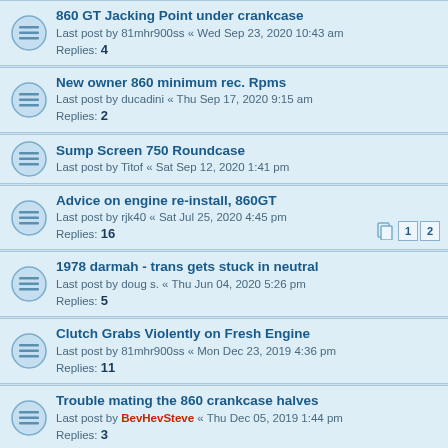860 GT Jacking Point under crankcase
Last post by 81mhr900ss « Wed Sep 23, 2020 10:43 am
Replies: 4
New owner 860 minimum rec. Rpms
Last post by ducadini « Thu Sep 17, 2020 9:15 am
Replies: 2
Sump Screen 750 Roundcase
Last post by Titof « Sat Sep 12, 2020 1:41 pm
Advice on engine re-install, 860GT
Last post by rjk40 « Sat Jul 25, 2020 4:45 pm
Replies: 16
1978 darmah - trans gets stuck in neutral
Last post by doug s. « Thu Jun 04, 2020 5:26 pm
Replies: 5
Clutch Grabs Violently on Fresh Engine
Last post by 81mhr900ss « Mon Dec 23, 2019 4:36 pm
Replies: 11
Trouble mating the 860 crankcase halves
Last post by BevHevSteve « Thu Dec 05, 2019 1:44 pm
Replies: 3
Better Oil Flow to the Sump, And filter ALL of the oil.
Last post by Gardner « Sun Nov 24, 2019 6:54 pm
Replies: 11
Dry clutch oil seal
Last post by Peter Mille « Sun Oct 27, 2019 8:25 am
Replies: 5
Crankcase breather & disconnected air boxes